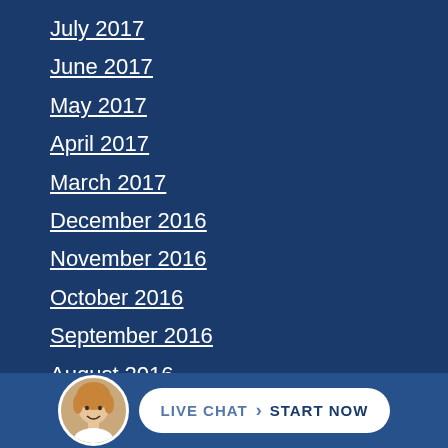July 2017
June 2017
May 2017
April 2017
March 2017
December 2016
November 2016
October 2016
September 2016
August 2016
July 2016
[Figure (other): Live chat widget with female avatar and 'LIVE CHAT START NOW' button]